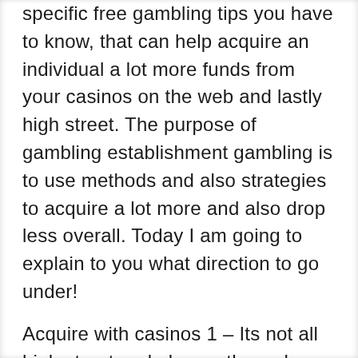specific free gambling tips you have to know, that can help acquire an individual a lot more funds from your casinos on the web and lastly high street. The purpose of gambling establishment gambling is to use methods and also strategies to acquire a lot more and also drop less overall. Today I am going to explain to you what direction to go under!
Acquire with casinos 1 – Its not all high street and also on the web casinos are manufactured the same. In terms of on the web casinos, many of them will offer you any 100% match up extra, yet prior to deciding to subscribe, verify their particular